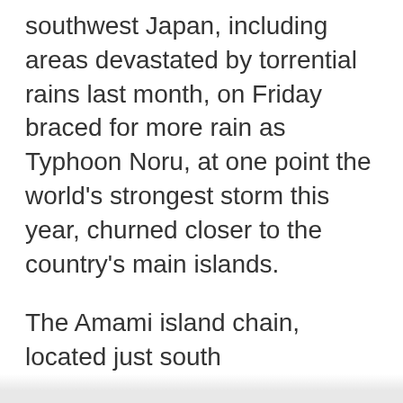southwest Japan, including areas devastated by torrential rains last month, on Friday braced for more rain as Typhoon Noru, at one point the world's strongest storm this year, churned closer to the country's main islands.
The Amami island chain, located just south
We use cookies
We use cookies and other tracking technologies to improve your browsing experience on our website, to show you personalized content and targeted ads, to analyze our website traffic, and to understand where our visitors are coming from.